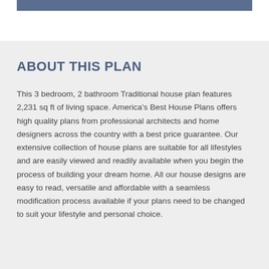ABOUT THIS PLAN
This 3 bedroom, 2 bathroom Traditional house plan features 2,231 sq ft of living space. America's Best House Plans offers high quality plans from professional architects and home designers across the country with a best price guarantee. Our extensive collection of house plans are suitable for all lifestyles and are easily viewed and readily available when you begin the process of building your dream home. All our house designs are easy to read, versatile and affordable with a seamless modification process available if your plans need to be changed to suit your lifestyle and personal choice.